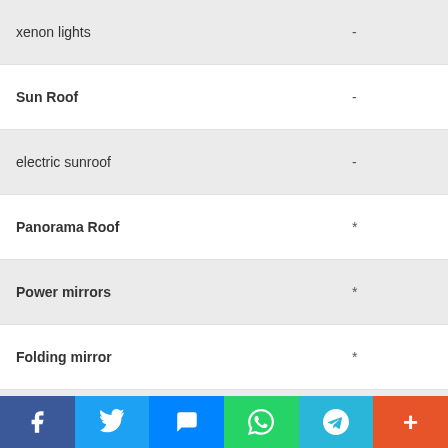| Feature | Value |
| --- | --- |
| xenon lights | - |
| Sun Roof | - |
| electric sunroof | - |
| Panorama Roof | * |
| Power mirrors | * |
| Folding mirror | * |
| Rim | 205/65 R16 |
safety and security features
| Feature | Value |
| --- | --- |
| Hill Assist (HLA) | * |
| Speed Limiter | * |
| Immobilizer | - |